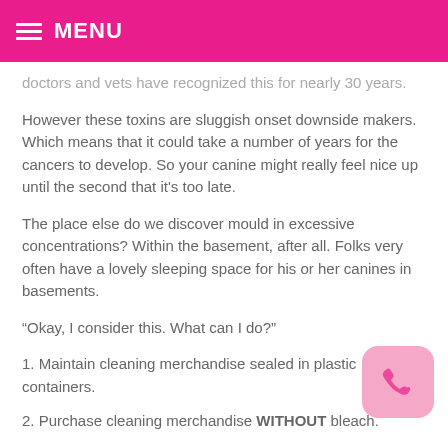MENU
doctors and vets have recognized this for nearly 30 years.
However these toxins are sluggish onset downside makers. Which means that it could take a number of years for the cancers to develop. So your canine might really feel nice up until the second that it's too late.
The place else do we discover mould in excessive concentrations? Within the basement, after all. Folks very often have a lovely sleeping space for his or her canines in basements.
“Okay, I consider this. What can I do?”
1. Maintain cleaning merchandise sealed in plastic containers.
2. Purchase cleaning merchandise WITHOUT bleach.
3. Clear up all spills instantly.
4. Hold washer and dryer open when not in use. (To cease mildew)